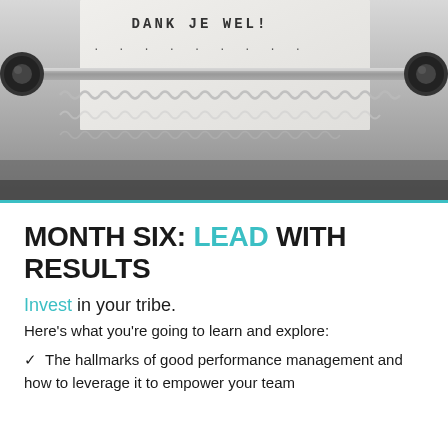[Figure (photo): Close-up photograph of a typewriter mechanism showing the metal roller bar, cylindrical end caps, and metallic spring/type guide assembly. A paper is partially visible in the typewriter with the text 'DANK JE WEL!' and dots below it typed in monospace font.]
MONTH SIX: LEAD WITH RESULTS
Invest in your tribe.
Here's what you're going to learn and explore:
✓  The hallmarks of good performance management and how to leverage it to empower your team